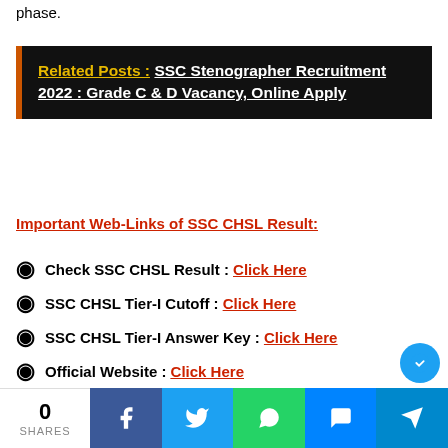phase.
Related Posts :  SSC Stenographer Recruitment 2022 : Grade C & D Vacancy, Online Apply
Important Web-Links of SSC CHSL Result:
Check SSC CHSL Result : Click Here
SSC CHSL Tier-I Cutoff : Click Here
SSC CHSL Tier-I Answer Key : Click Here
Official Website : Click Here
0 SHARES | Facebook | Twitter | WhatsApp | Messenger | Telegram